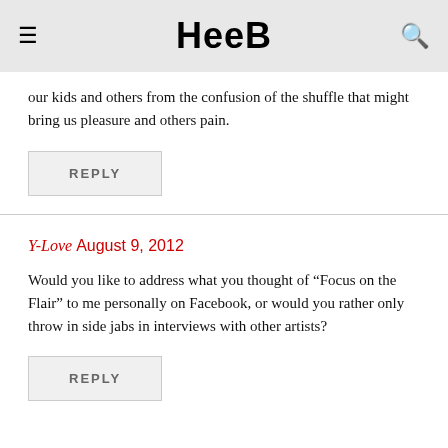Heeb
our kids and others from the confusion of the shuffle that might bring us pleasure and others pain.
REPLY
Y-Love August 9, 2012
Would you like to address what you thought of “Focus on the Flair” to me personally on Facebook, or would you rather only throw in side jabs in interviews with other artists?
REPLY